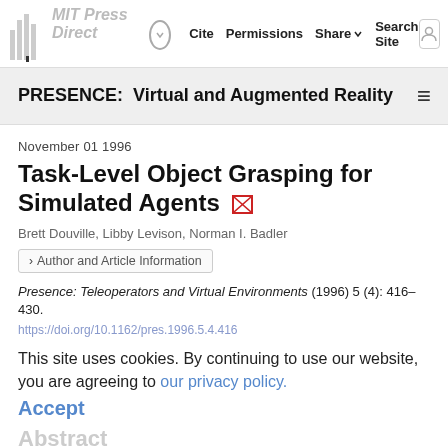Cite  Permissions  Share  Search Site  MIT Press Direct
PRESENCE:  Virtual and Augmented Reality
November 01 1996
Task-Level Object Grasping for Simulated Agents
Brett Douville, Libby Levison, Norman I. Badler
Author and Article Information
Presence: Teleoperators and Virtual Environments (1996) 5 (4): 416–430.
This site uses cookies. By continuing to use our website, you are agreeing to our privacy policy. Accept
Abstract
Simulating a human figure performing a manual task